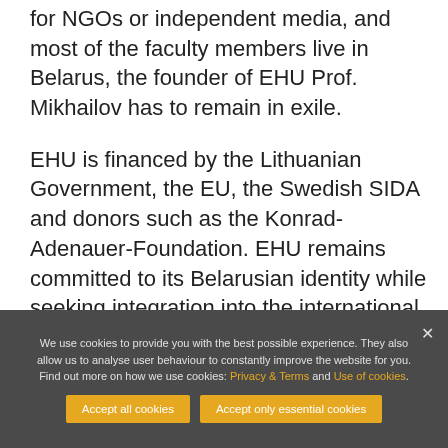for NGOs or independent media, and most of the faculty members live in Belarus, the founder of EHU Prof. Mikhailov has to remain in exile.
EHU is financed by the Lithuanian Government, the EU, the Swedish SIDA and donors such as the Konrad-Adenauer-Foundation. EHU remains committed to its Belarusian identity while seeking integration into the international academic community. It will return to Belarus when it can fulfil
We use cookies to provide you with the best possible experience. They also allow us to analyse user behaviour to constantly improve the website for you. Find out more on how we use cookies: Privacy & Terms and Use of cookies.